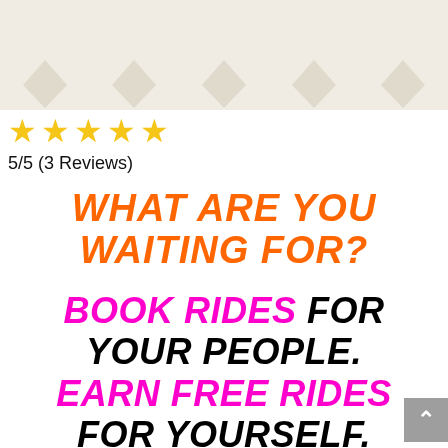[Figure (illustration): Light beige/cream top banner area with chevron/ribbon shapes in muted tones arranged across the top]
★★★★★
5/5 (3 Reviews)
WHAT ARE YOU WAITING FOR?
BOOK RIDES FOR YOUR PEOPLE. EARN FREE RIDES FOR YOURSELF.